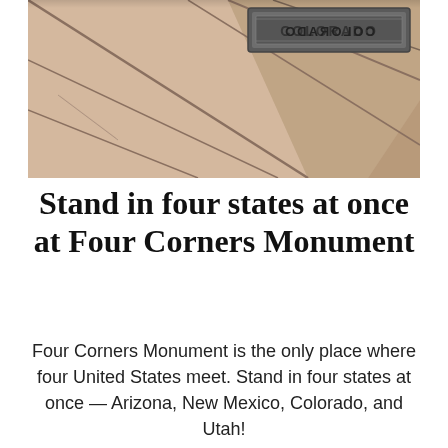[Figure (photo): Close-up photo of the Four Corners Monument marker, showing sandy/beige stone tiles with geometric lines and a metallic plate with text (COLORADO visible), viewed from an angle.]
Stand in four states at once at Four Corners Monument
Four Corners Monument is the only place where four United States meet. Stand in four states at once — Arizona, New Mexico, Colorado, and Utah!